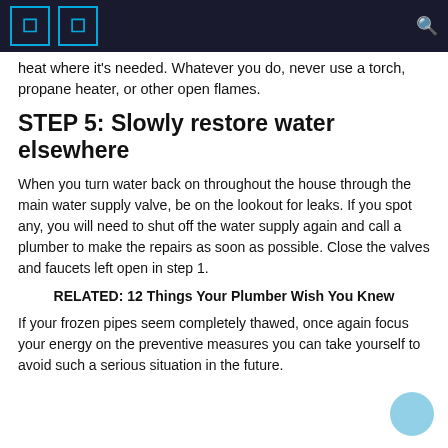heat where it's needed. Whatever you do, never use a torch, propane heater, or other open flames.
STEP 5: Slowly restore water elsewhere
When you turn water back on throughout the house through the main water supply valve, be on the lookout for leaks. If you spot any, you will need to shut off the water supply again and call a plumber to make the repairs as soon as possible. Close the valves and faucets left open in step 1.
RELATED: 12 Things Your Plumber Wish You Knew
If your frozen pipes seem completely thawed, once again focus your energy on the preventive measures you can take yourself to avoid such a serious situation in the future.